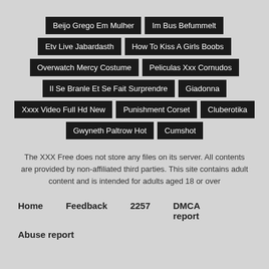Beijo Grego Em Mulher
Im Bus Befummelt
Etv Live Jabardasth
How To Kiss A Girls Boobs
Overwatch Mercy Costume
Peliculas Xxx Cornudos
Il Se Branle Et Se Fait Surprendre
Giadonna
Xxxx Video Full Hd New
Punishment Corset
Cluberotika
Gwyneth Paltrow Hot
Cumshot
The XXX Free does not store any files on its server. All contents are provided by non-affiliated third parties. This site contains adult content and is intended for adults aged 18 or over
Home   Feedback   2257   DMCA report   Abuse report